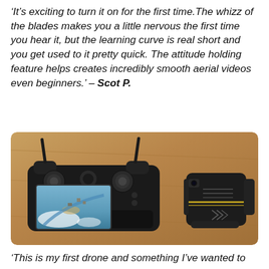'It's exciting to turn it on for the first time.The whizz of the blades makes you a little nervous the first time you hear it, but the learning curve is real short and you get used to it pretty quick. The attitude holding feature helps creates incredibly smooth aerial videos even beginners.' – Scot P.
[Figure (photo): Photo of a drone remote controller with a smartphone showing an aerial view attached, and a folded drone body to the right, placed on a wooden surface.]
'This is my first drone and something I've wanted to